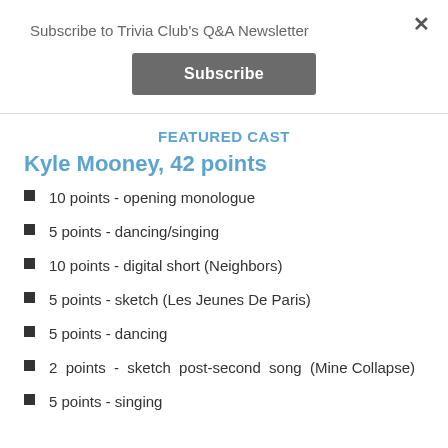Subscribe to Trivia Club's Q&A Newsletter
Subscribe
FEATURED CAST
Kyle Mooney, 42 points
10 points - opening monologue
5 points - dancing/singing
10 points - digital short (Neighbors)
5 points - sketch (Les Jeunes De Paris)
5 points - dancing
2 points - sketch post-second song (Mine Collapse)
5 points - singing